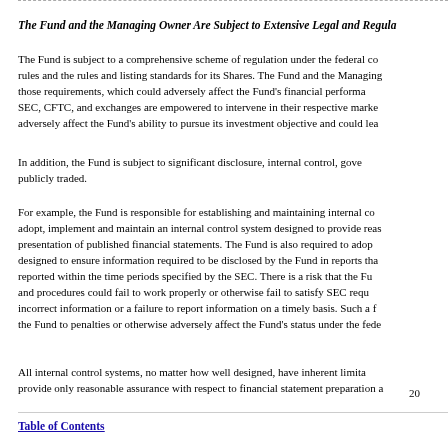interact with these intermediaries to carry out their trading activities. These inter...
The Fund and the Managing Owner Are Subject to Extensive Legal and Regula...
The Fund is subject to a comprehensive scheme of regulation under the federal co... rules and the rules and listing standards for its Shares. The Fund and the Managing... those requirements, which could adversely affect the Fund's financial performa... SEC, CFTC, and exchanges are empowered to intervene in their respective marke... adversely affect the Fund's ability to pursue its investment objective and could lea...
In addition, the Fund is subject to significant disclosure, internal control, gove... publicly traded.
For example, the Fund is responsible for establishing and maintaining internal co... adopt, implement and maintain an internal control system designed to provide reas... presentation of published financial statements. The Fund is also required to adop... designed to ensure information required to be disclosed by the Fund in reports tha... reported within the time periods specified by the SEC. There is a risk that the Fu... and procedures could fail to work properly or otherwise fail to satisfy SEC requ... incorrect information or a failure to report information on a timely basis. Such a f... the Fund to penalties or otherwise adversely affect the Fund's status under the fede...
All internal control systems, no matter how well designed, have inherent limita... provide only reasonable assurance with respect to financial statement preparation a...
20
Table of Contents